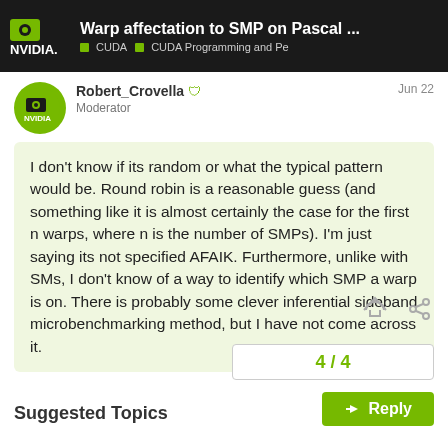Warp affectation to SMP on Pascal ... | CUDA | CUDA Programming and Pe
Robert_Crovella 🛡 Moderator — Jun 22
I don't know if its random or what the typical pattern would be. Round robin is a reasonable guess (and something like it is almost certainly the case for the first n warps, where n is the number of SMPs). I'm just saying its not specified AFAIK. Furthermore, unlike with SMs, I don't know of a way to identify which SMP a warp is on. There is probably some clever inferential sideband microbenchmarking method, but I have not come across it.
4 / 4
Reply
Suggested Topics